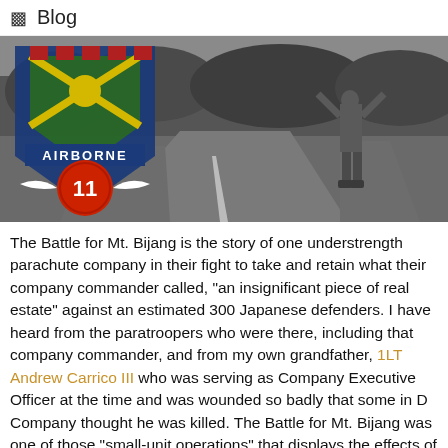Blog
[Figure (photo): Hero banner image showing a black-and-white road scene with a soldier standing with arms raised, overlaid with an 11th Airborne Division patch/badge on the left side.]
The Battle for Mt. Bijang is the story of one understrength parachute company in their fight to take and retain what their company commander called, "an insignificant piece of real estate" against an estimated 300 Japanese defenders. I have heard from the paratroopers who were there, including that company commander, and from my own grandfather, 1LT Andrew Carrico III who was serving as Company Executive Officer at the time and was wounded so badly that some in D Company thought he was killed. The Battle for Mt. Bijang was one of those "small-unit operations" that displays the effects of superb leadership, skilled NCOs, determined frontline fighters, and...